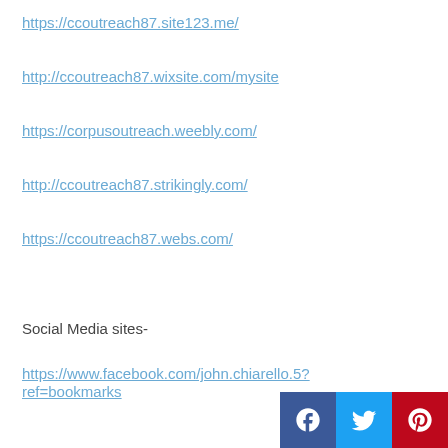https://ccoutreach87.site123.me/
http://ccoutreach87.wixsite.com/mysite
https://corpusoutreach.weebly.com/
http://ccoutreach87.strikingly.com/
https://ccoutreach87.webs.com/
Social Media sites-
https://www.facebook.com/john.chiarello.5?ref=bookmarks